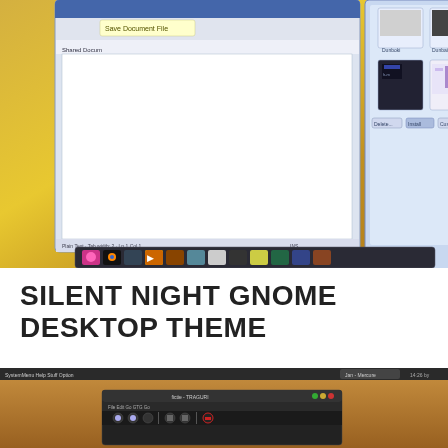[Figure (screenshot): Screenshot of a desktop environment showing an open application window with a save dialog and a theme/appearance settings dialog on a golden-yellow desktop background, with a taskbar visible at the bottom of the screen.]
SILENT NIGHT GNOME DESKTOP THEME
[Figure (screenshot): Screenshot of the Silent Night GNOME desktop theme showing a wooden-textured desktop with a dark application window open, featuring dark UI elements with icon buttons at the bottom.]